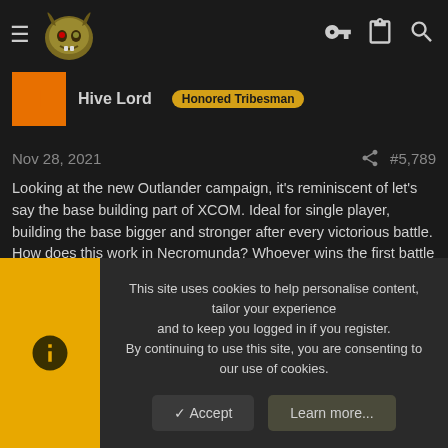Hive Lord – Honored Tribesman – Forum post #5,789 – Nov 28, 2021
Looking at the new Outlander campaign, it's reminiscent of let's say the base building part of XCOM. Ideal for single player, building the base bigger and stronger after every victorious battle. How does this work in Necromunda? Whoever wins the first battle gains more income, builds bigger base, gets stronger. Loser gets less income, spend resources to heal/replace their injured/dead fighters. Now the winner is more powerful and the loser is weaker. Next cycle? Repeat.
I'm gonna play kill team for a while longer 😂
This site uses cookies to help personalise content, tailor your experience and to keep you logged in if you register.
By continuing to use this site, you are consenting to our use of cookies.